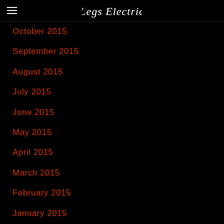Legs Electric
October 2015
September 2015
August 2015
July 2015
June 2015
May 2015
April 2015
March 2015
February 2015
January 2015
December 2014
November 2014
October 2014
September 2014
August 2014
July 2014
June 2014
May 2014